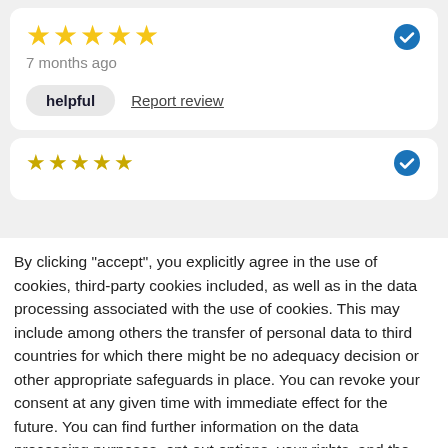[Figure (other): Review card with 5 yellow stars, '7 months ago' timestamp, verified badge, helpful button and report review link]
[Figure (other): Second review card partially visible with yellow stars and verified badge]
By clicking "accept", you explicitly agree in the use of cookies, third-party cookies included, as well as in the data processing associated with the use of cookies. This may include among others the transfer of personal data to third countries for which there might be no adequacy decision or other appropriate safeguards in place. You can revoke your consent at any given time with immediate effect for the future. You can find further information on the data processing purposes, opt-out options, your rights, and the risks of data transfers to third countries here.
ACCEPT